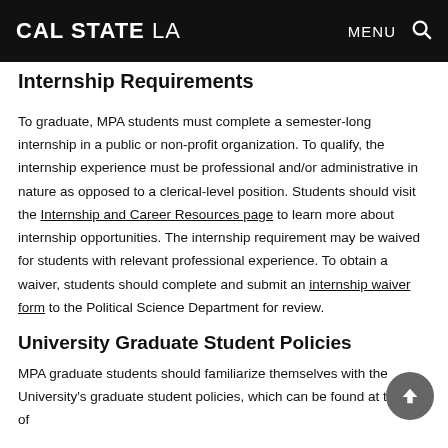CAL STATE LA   MENU 🔍
Internship Requirements
To graduate, MPA students must complete a semester-long internship in a public or non-profit organization. To qualify, the internship experience must be professional and/or administrative in nature as opposed to a clerical-level position. Students should visit the Internship and Career Resources page to learn more about internship opportunities. The internship requirement may be waived for students with relevant professional experience. To obtain a waiver, students should complete and submit an internship waiver form to the Political Science Department for review.
University Graduate Student Policies
MPA graduate students should familiarize themselves with the University's graduate student policies, which can be found at the site of